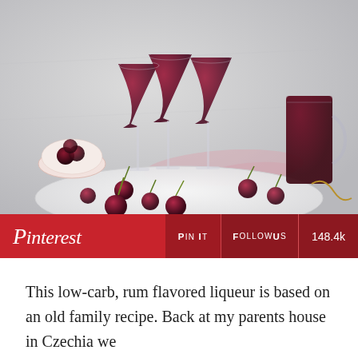[Figure (photo): Three martini-style glasses filled with dark cherry liqueur on a marble board, alongside a tall glass pitcher of the same drink, a bowl of cherries, and scattered fresh cherries. Pink cloth in background, light gray backdrop.]
Pinterest  PIN IT  FOLLOW US  148.4k
This low-carb, rum flavored liqueur is based on an old family recipe. Back at my parents house in Czechia we used to have a small morello cherry tree that always produced plenty of fruit. Every year my mom would be...